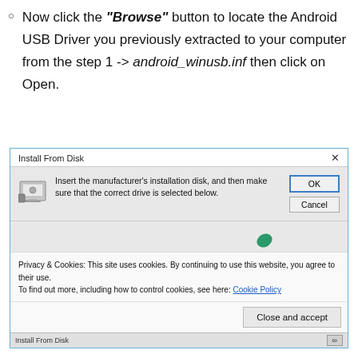Now click the "Browse" button to locate the Android USB Driver you previously extracted to your computer from the step 1 -> android_winusb.inf then click on Open.
[Figure (screenshot): Windows 'Install From Disk' dialog box with OK and Cancel buttons, overlaid with a cookie consent notice and 'Close and accept' button. Taskbar strip visible at bottom.]